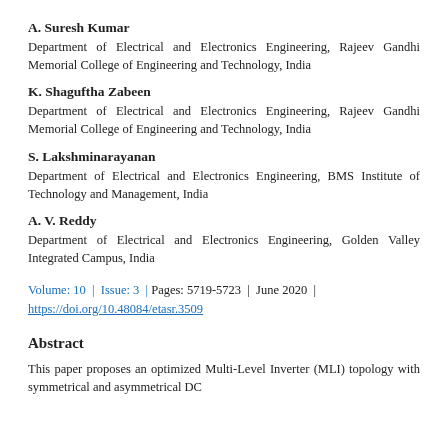A. Suresh Kumar
Department of Electrical and Electronics Engineering, Rajeev Gandhi Memorial College of Engineering and Technology, India
K. Shaguftha Zabeen
Department of Electrical and Electronics Engineering, Rajeev Gandhi Memorial College of Engineering and Technology, India
S. Lakshminarayanan
Department of Electrical and Electronics Engineering, BMS Institute of Technology and Management, India
A. V. Reddy
Department of Electrical and Electronics Engineering, Golden Valley Integrated Campus, India
Volume: 10 | Issue: 3 | Pages: 5719-5723 | June 2020 | https://doi.org/10.48084/etasr.3509
Abstract
This paper proposes an optimized Multi-Level Inverter (MLI) topology with symmetrical and asymmetrical DC